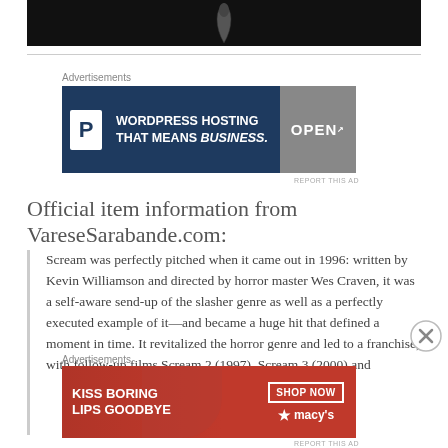[Figure (photo): Dark background product image (partial, top cropped), showing a small curved object on black background]
Advertisements
[Figure (other): WordPress hosting advertisement: blue banner with 'P' logo, text 'WORDPRESS HOSTING THAT MEANS BUSINESS.' and an OPEN sign photo on the right]
REPORT THIS AD
Official item information from VareseSarabande.com:
Scream was perfectly pitched when it came out in 1996: written by Kevin Williamson and directed by horror master Wes Craven, it was a self-aware send-up of the slasher genre as well as a perfectly executed example of it—and became a huge hit that defined a moment in time. It revitalized the horror genre and led to a franchise, with follow-up films Scream 2 (1997), Scream 3 (2000) and
Advertisements
[Figure (other): Macy's advertisement: red banner with woman's face, text 'KISS BORING LIPS GOODBYE', 'SHOP NOW' button, and Macy's star logo]
REPORT THIS AD